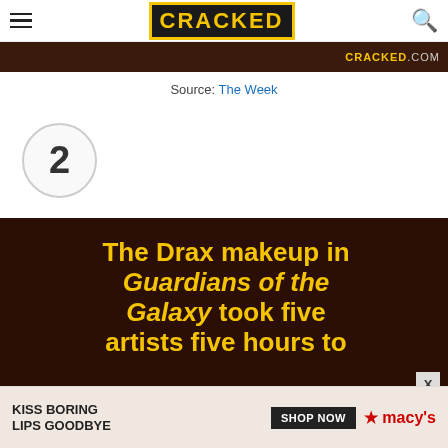CRACKED
[Figure (screenshot): Dark brown diagonal-striped banner with CRACKED.COM text in yellow on right]
Source: The Week
2
[Figure (screenshot): Dark brown background article card with yellow bold text: The Drax makeup in Guardians of the Galaxy took five artists five hours to]
[Figure (advertisement): Macy's ad banner with KISS BORING LIPS GOODBYE text and SHOP NOW button]